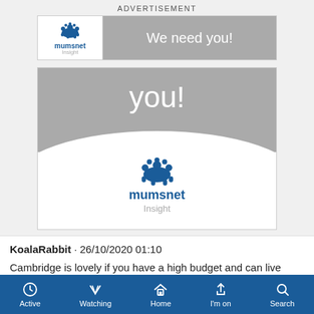[Figure (screenshot): Mumsnet Insight advertisement banner - top strip with logo on left and 'We need you!' text on right]
[Figure (screenshot): Mumsnet Insight advertisement square - 'you!' text on grey top half, white arch with mumsnet Insight logo on bottom half]
KoalaRabbit · 26/10/2020 01:10
Cambridge is lovely if you have a high budget and can live
Active  Watching  Home  I'm on  Search